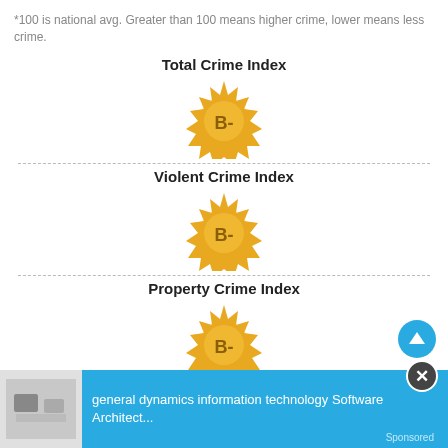*100 is national avg. Greater than 100 means higher crime, lower means less crime.
Total Crime Index
[Figure (infographic): Gold sun-shaped badge with letter B- in the center, representing Total Crime Index grade]
Violent Crime Index
[Figure (infographic): Gold sun-shaped badge with letter B- in the center, representing Violent Crime Index grade]
Property Crime Index
[Figure (infographic): Gold sun-shaped badge with letter B- in the center, representing Property Crime Index grade]
general dynamics information technology Software Architect... Sponsored